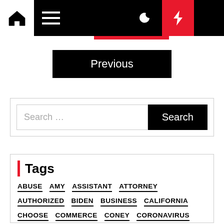Navigation bar with home, menu, moon, bolt, search icons
Previous
Search ...
Tags
ABUSE
AMY
ASSISTANT
ATTORNEY
AUTHORIZED
BIDEN
BUSINESS
CALIFORNIA
CHOOSE
COMMERCE
CONEY
CORONAVIRUS
COUNTY
COURT
COVID19
CRIMINAL
CYBER